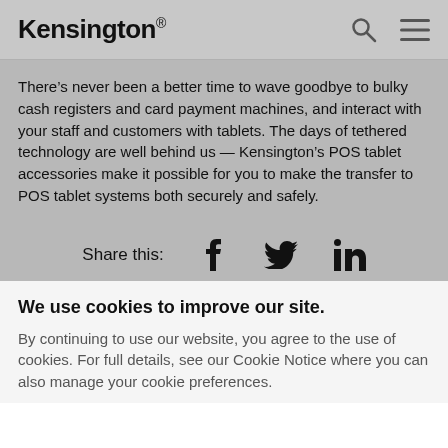Kensington
There’s never been a better time to wave goodbye to bulky cash registers and card payment machines, and interact with your staff and customers with tablets. The days of tethered technology are well behind us — Kensington’s POS tablet accessories make it possible for you to make the transfer to POS tablet systems both securely and safely.
Share this:
We use cookies to improve our site.
By continuing to use our website, you agree to the use of cookies. For full details, see our Cookie Notice where you can also manage your cookie preferences.